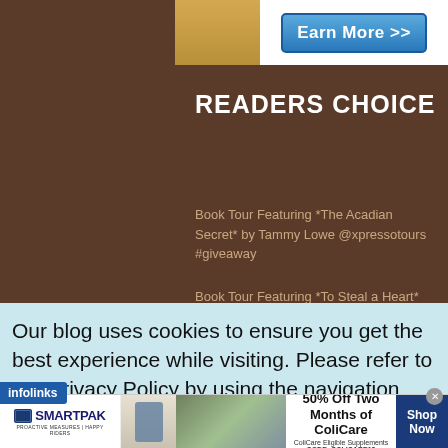[Figure (screenshot): Earn More >> blue button on white background with partial person image in mustard/yellow clothing]
READERS CHOICE
Book Tour Featuring *The Acadian Secret* by Tammy Lowe @xpressotours #giveaway
Book Tour Featuring *To Steal a Heart* by
Our blog uses cookies to ensure you get the best experience while visiting. Please refer to our Privacy Policy by using the navigation above
[Figure (screenshot): SmartPak advertisement: 50% Off Two Months of ColiCare, ColiCare Eligible Supplements, CODE: COLICARE10, Shop Now button]
infolinks